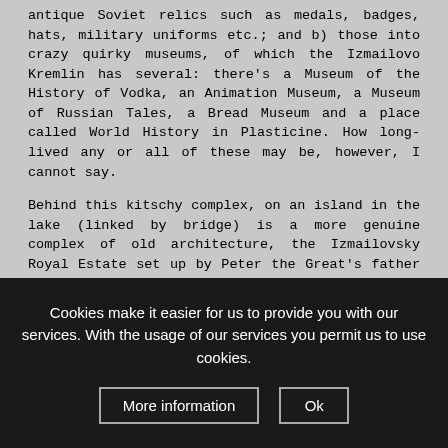antique Soviet relics such as medals, badges, hats, military uniforms etc.; and b) those into crazy quirky museums, of which the Izmailovo Kremlin has several: there's a Museum of the History of Vodka, an Animation Museum, a Museum of Russian Tales, a Bread Museum and a place called World History in Plasticine. How long-lived any or all of these may be, however, I cannot say.
Behind this kitschy complex, on an island in the lake (linked by bridge) is a more genuine complex of old architecture, the Izmailovsky Royal Estate set up by Peter the Great's father and includes a 17th century multi-domed cathedral. South of this is the vast woodland recreation range of Izmailovsky Park.
But for anything more like classic tourist sightseeing you'd have to
Cookies make it easier for us to provide you with our services. With the usage of our services you permit us to use cookies.